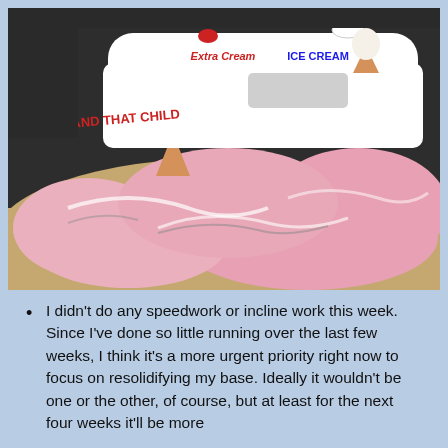[Figure (photo): A large novelty ice cream truck sculpture or prop that appears to be melting, lying on sand/beach. The truck is white with 'Extra Cream ICE CREAM' text and pink swirled melting ice cream flowing out from it in all directions. Text on the side reads 'AND THAT CHILD'.]
I didn't do any speedwork or incline work this week. Since I've done so little running over the last few weeks, I think it's a more urgent priority right now to focus on resolidifying my base. Ideally it wouldn't be one or the other, of course, but at least for the next four weeks it'll be more